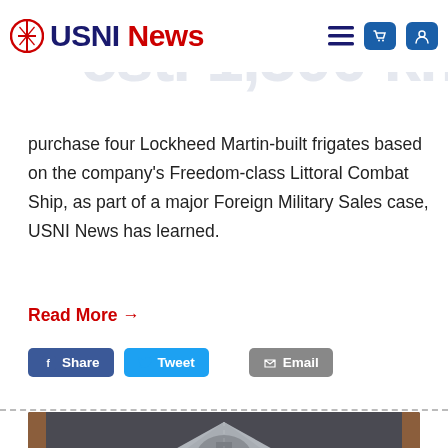USNI News
purchase four Lockheed Martin-built frigates based on the company's Freedom-class Littoral Combat Ship, as part of a major Foreign Military Sales case, USNI News has learned.
Read More →
[Figure (other): Social sharing buttons: Facebook Share, Twitter Tweet, Email]
[Figure (photo): Aerial/top-down view of a model of a Freedom-class Littoral Combat Ship frigate, showing the bow, superstructure, mast, and deck details with red and yellow markers visible]